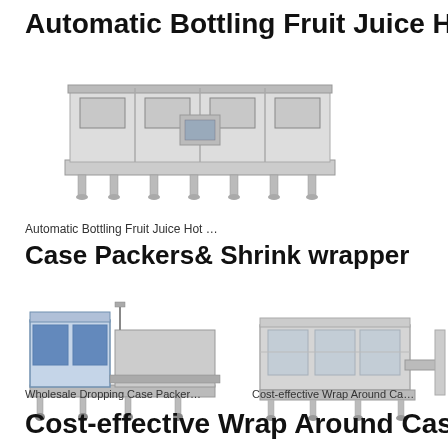Automatic Bottling Fruit Juice Hot Filling
[Figure (photo): Automatic bottling fruit juice hot filling machine — a wide industrial filling line with multiple filling heads and stainless steel frame]
Automatic Bottling Fruit Juice Hot …
Case Packers& Shrink wrapper
[Figure (photo): Wholesale Dropping Case Packer machine — blue and silver industrial case packer with conveyor]
[Figure (photo): Cost-effective Wrap Around Case Packer machine — grey industrial wrap around case packer]
Wholesale Dropping Case Packer…
Cost-effective Wrap Around Ca…
Cost-effective Wrap Around Case Packe…